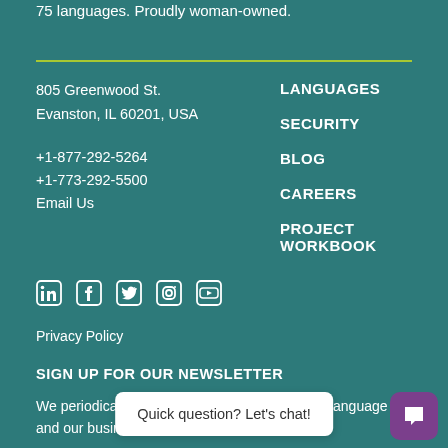75 languages. Proudly woman-owned.
805 Greenwood St.
Evanston, IL 60201, USA
+1-877-292-5264
+1-773-292-5500
Email Us
LANGUAGES
SECURITY
BLOG
CAREERS
PROJECT WORKBOOK
[Figure (illustration): Social media icons: LinkedIn, Facebook, Twitter, Instagram, YouTube]
Privacy Policy
SIGN UP FOR OUR NEWSLETTER
We periodically share news and updates about language and our business. We'll ne… on anyone.
Quick question? Let's chat!